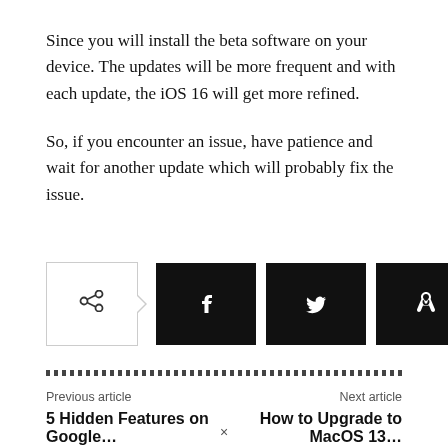Since you will install the beta software on your device. The updates will be more frequent and with each update, the iOS 16 will get more refined.
So, if you encounter an issue, have patience and wait for another update which will probably fix the issue.
[Figure (infographic): Share buttons row: a share icon button with outline border and arrow, followed by four black social media icon buttons for Facebook, Twitter, Pinterest, and WhatsApp]
Previous article | 5 Hidden Features on Google … | Next article | How to Upgrade to MacOS 13…